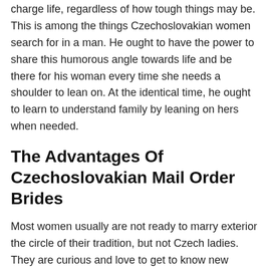charge life, regardless of how tough things may be. This is among the things Czechoslovakian women search for in a man. He ought to have the power to share this humorous angle towards life and be there for his woman every time she needs a shoulder to lean on. At the identical time, he ought to learn to understand family by leaning on hers when needed.
The Advantages Of Czechoslovakian Mail Order Brides
Most women usually are not ready to marry exterior the circle of their tradition, but not Czech ladies. They are curious and love to get to know new individuals and traditions. That itself makes them good mail order brides for males in virtually any a part of the nation. Judging from the variety of people looking for Czech brides for marriage, it comes as no surprise that these gorgeous girls are a variety of the most desired wives